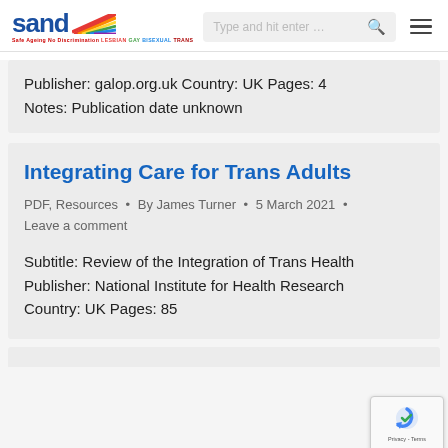SAND - Safe Ageing No Discrimination LESBIAN GAY BISEXUAL TRANS
Publisher: galop.org.uk Country: UK Pages: 4
Notes: Publication date unknown
Integrating Care for Trans Adults
PDF, Resources • By James Turner • 5 March 2021 • Leave a comment
Subtitle: Review of the Integration of Trans Health Publisher: National Institute for Health Research Country: UK Pages: 85